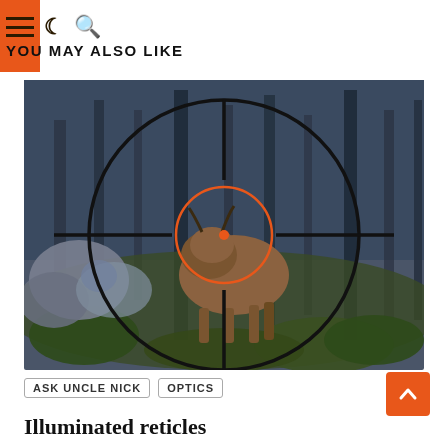YOU MAY ALSO LIKE
[Figure (photo): A scope view (crosshair reticle with orange illuminated center dot and circle) aimed at a bull/water buffalo in a forest/woodland setting with trees and scrubby vegetation.]
ASK UNCLE NICK   OPTICS
Illuminated reticles